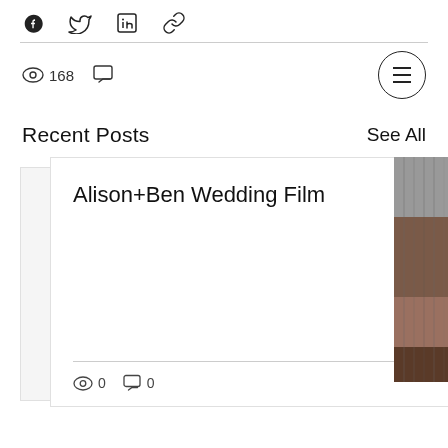Share icons: Facebook, Twitter, LinkedIn, Link
168 views, comment icon
[Figure (screenshot): Circular menu button with three horizontal lines (hamburger menu icon)]
Recent Posts
See All
Alison+Ben Wedding Film
0 views, 0 comments, heart icon